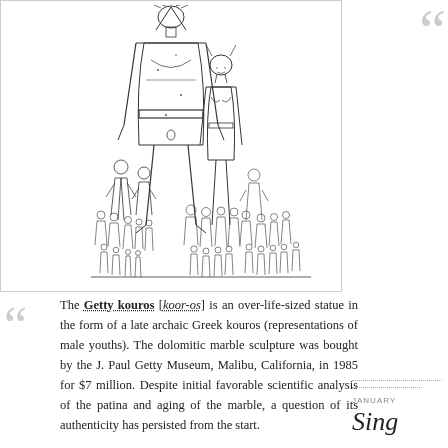[Figure (illustration): Line drawing illustration showing a large central male figure (kouros) with a smaller female figure beside it, and many smaller human figures grouped in the foreground, arranged in a hierarchical composition.]
The Getty kouros [koor-os] is an over-life-sized statue in the form of a late archaic Greek kouros (representations of male youths). The dolomitic marble sculpture was bought by the J. Paul Getty Museum, Malibu, California, in 1985 for $7 million. Despite initial favorable scientific analysis of the patina and aging of the marble, a question of its authenticity has persisted from the start.